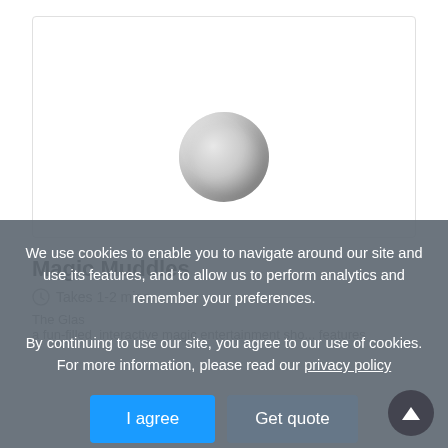[Figure (photo): Product image area showing a glass ball/sphere centered in a white bordered container]
Magic Muddles
Takes 1-2 mins.
The Glas a fun-filled, interactive magic entertainment sho... features
We use cookies to enable you to navigate around our site and use its features, and to allow us to perform analytics and remember your preferences. By continuing to use our site, you agree to our use of cookies. For more information, please read our privacy policy